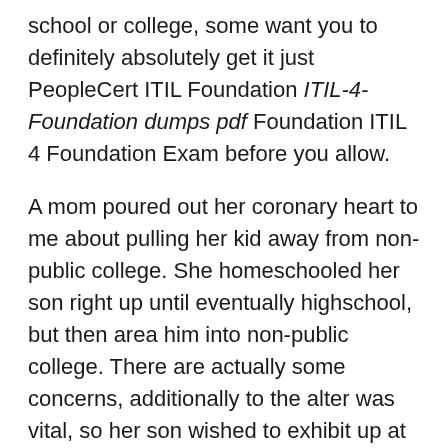school or college, some want you to definitely absolutely get it just PeopleCert ITIL Foundation ITIL-4-Foundation dumps pdf Foundation ITIL 4 Foundation Exam before you allow.
A mom poured out her coronary heart to me about pulling her kid away from non-public college. She homeschooled her son right up until eventually highschool, but then area him into non-public college. There are actually some concerns, additionally to the alter was vital, so her son wished to exhibit up at standard general public college or university. She was getting into ITIL-4-Foundation dumps account homeschooling the moment again, but was rather anxious. Even though her son was not rebellious, he experienced no want to homeschool. She preferred answers.Sad to convey, you will find easy choices. PeopleCert Any time a teen has not been homeschooling for some time, and won't would like to